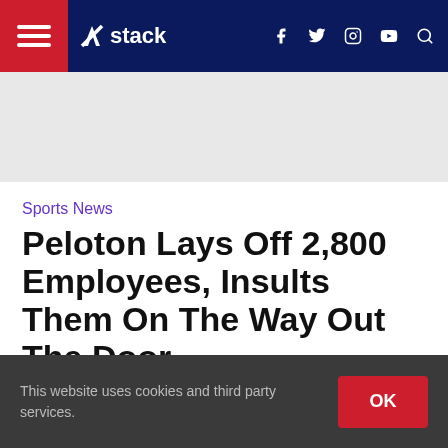stack — navigation bar with hamburger menu, logo, social icons (f, Twitter, Instagram, YouTube), and search
Sports News
Peloton Lays Off 2,800 Employees, Insults Them On The Way Out The Door
By Bill Wasinger   Published On: 2022-02-13
[Figure (photo): Dark/black image area below the article header]
This website uses cookies and third party services.